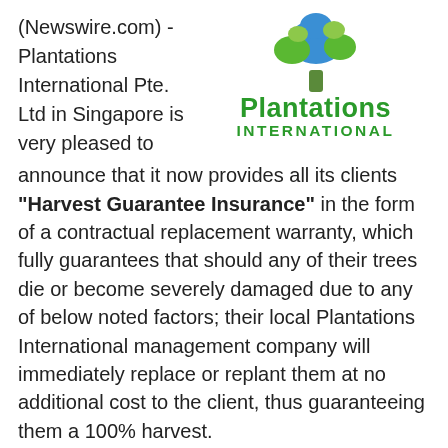(Newswire.com) - Plantations International Pte. Ltd in Singapore is very pleased to announce that it now provides all its clients "Harvest Guarantee Insurance" in the form of a contractual replacement warranty, which fully guarantees that should any of their trees die or become severely damaged due to any of below noted factors; their local Plantations International management company will immediately replace or replant them at no additional cost to the client, thus guaranteeing them a 100% harvest.
[Figure (logo): Plantations International logo with a tree graphic above the text 'Plantations INTERNATIONAL' in green]